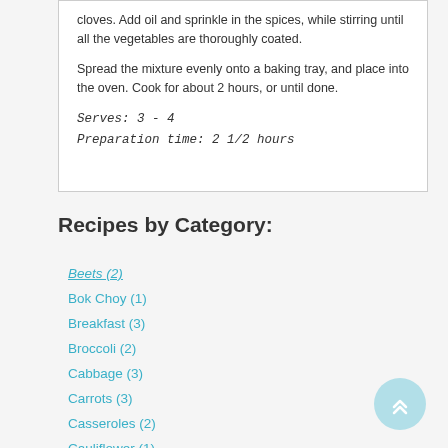cloves. Add oil and sprinkle in the spices, while stirring until all the vegetables are thoroughly coated.

Spread the mixture evenly onto a baking tray, and place into the oven. Cook for about 2 hours, or until done.
Serves: 3 - 4
Preparation time: 2 1/2 hours
Recipes by Category:
Beets (2)
Bok Choy (1)
Breakfast (3)
Broccoli (2)
Cabbage (3)
Carrots (3)
Casseroles (2)
Cauliflower (1)